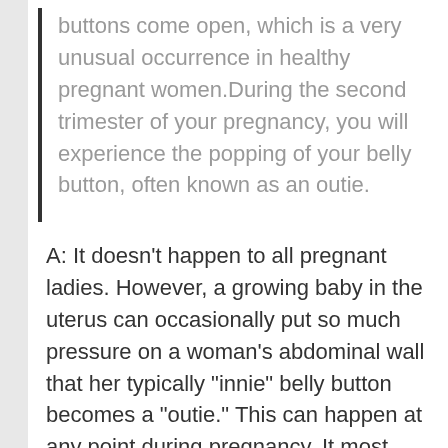buttons come open, which is a very unusual occurrence in healthy pregnant women.During the second trimester of your pregnancy, you will experience the popping of your belly button, often known as an outie.
A: It doesn't happen to all pregnant ladies. However, a growing baby in the uterus can occasionally put so much pressure on a woman's abdominal wall that her typically "innie" belly button becomes a "outie." This can happen at any point during pregnancy. It most frequently takes place in the middle of the second or third trimester of pregnancy, around the 26th week of